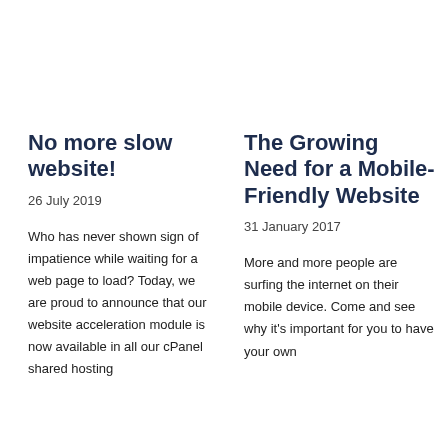No more slow website!
26 July 2019
Who has never shown sign of impatience while waiting for a web page to load? Today, we are proud to announce that our website acceleration module is now available in all our cPanel shared hosting
The Growing Need for a Mobile-Friendly Website
31 January 2017
More and more people are surfing the internet on their mobile device. Come and see why it's important for you to have your own